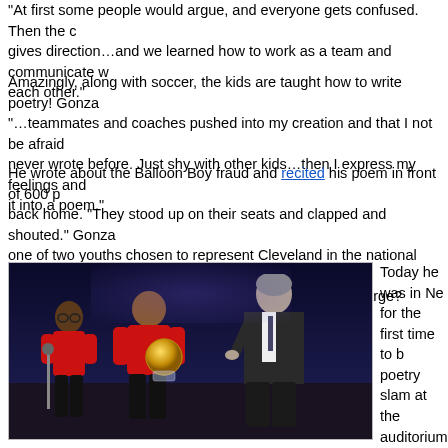"At first some people would argue, and everyone gets confused. Then the coach gives direction…and we learned how to work as a team and communicate with each other."
Amazingly, along with soccer, the kids are taught how to write poetry! Gonza… "…teammates and coaches pushed into my creation and that I not be afraid… never wrote before. Just shy with other kids…then I express my feelings and it into a poem."
He wrote about the Balloon Boy fraud and recited his poem in front of 600 p… back home. "They stood up on their seats and clapped and shouted." Gonza… one of two youths chosen to represent Cleveland in the national recital. Whe… last time you were brave enough to talk to a group that large?
[Figure (photo): Two children in red soccer jerseys on stage receiving a golden trophy/ball from a man in a dark suit, performing at what appears to be an awards ceremony on a dark stage.]
Today he was in Ne… for the first time to b… poetry slam at the auditorium of the Ne… Stock Exchange. He… a group of 30 kids fr… around the country w… rang the closing bell… members of the New… Red Bulls soccer tea… some other professi… league soccer playe… team owners and ev… Sunil Gulati, the pre… of the US Soccer Federation.